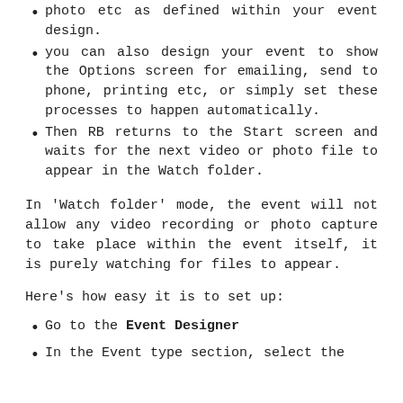photo etc as defined within your event design.
you can also design your event to show the Options screen for emailing, send to phone, printing etc, or simply set these processes to happen automatically.
Then RB returns to the Start screen and waits for the next video or photo file to appear in the Watch folder.
In 'Watch folder' mode, the event will not allow any video recording or photo capture to take place within the event itself, it is purely watching for files to appear.
Here's how easy it is to set up:
Go to the Event Designer
In the Event type section, select the